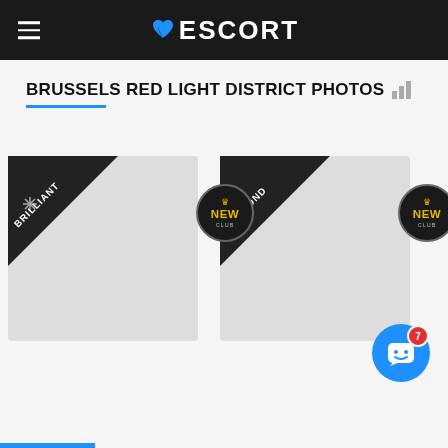ESCORT
BRUSSELS RED LIGHT DISTRICT PHOTOS
[Figure (screenshot): Two escort listing card placeholders with badges: first card has 'BRILLIANT' diagonal ribbon banner and a 'NEW' circular badge; second card has 'DIAMOND' diagonal ribbon banner and a 'NEW' circular badge. On the far right, partial view of another card with a 'NEW' badge. Cards are on a light grey background.]